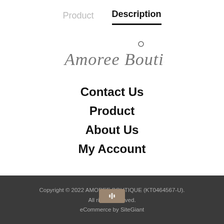Product  Description
[Figure (logo): Amoree Boutique cursive script logo with a small circle above the 'e']
Contact Us
Product
About Us
My Account
Copyright © 2022 AMOREE BOUTIQUE (KT0464567-U). All rights reserved. eCommerce by SiteGiant